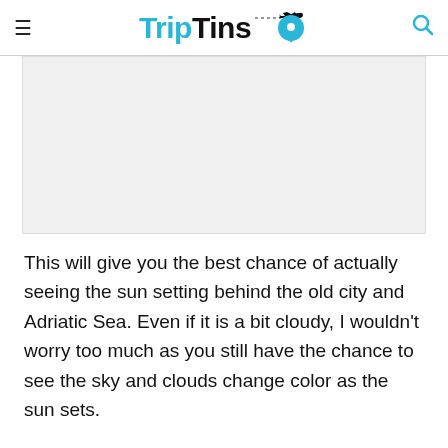TripTins
[Figure (other): Advertisement placeholder box (light gray rectangle)]
This will give you the best chance of actually seeing the sun setting behind the old city and Adriatic Sea. Even if it is a bit cloudy, I wouldn't worry too much as you still have the chance to see the sky and clouds change color as the sun sets.